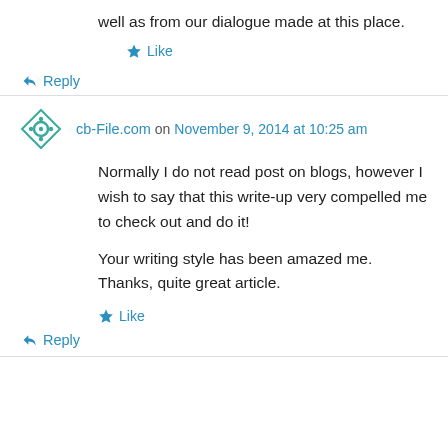well as from our dialogue made at this place.
Like
Reply
cb-File.com on November 9, 2014 at 10:25 am
Normally I do not read post on blogs, however I wish to say that this write-up very compelled me to check out and do it!
Your writing style has been amazed me. Thanks, quite great article.
Like
Reply